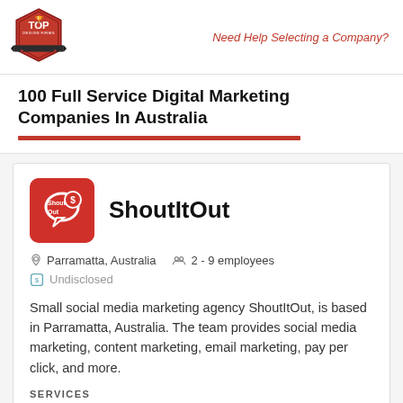Need Help Selecting a Company?
100 Full Service Digital Marketing Companies In Australia
Small social media marketing agency ShoutItOut, is based in Parramatta, Australia. The team provides social media marketing, content marketing, email marketing, pay per click, and more.
SERVICES